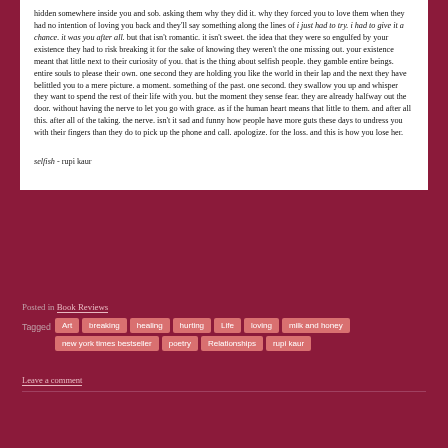hidden somewhere inside you and sob. asking them why they did it. why they forced you to love them when they had no intention of loving you back and they'll say something along the lines of i just had to try. i had to give it a chance. it was you after all. but that isn't romantic. it isn't sweet. the idea that they were so engulfed by your existence they had to risk breaking it for the sake of knowing they weren't the one missing out. your existence meant that little next to their curiosity of you. that is the thing about selfish people. they gamble entire beings. entire souls to please their own. one second they are holding you like the world in their lap and the next they have belittled you to a mere picture. a moment. something of the past. one second. they swallow you up and whisper they want to spend the rest of their life with you. but the moment they sense fear. they are already halfway out the door. without having the nerve to let you go with grace. as if the human heart means that little to them. and after all this. after all of the taking. the nerve. isn't it sad and funny how people have more guts these days to undress you with their fingers than they do to pick up the phone and call. apologize. for the loss. and this is how you lose her.
selfish - rupi kaur
Posted in Book Reviews
Tagged Art breaking healing hurting Life loving milk and honey new york times bestseller poetry Relationships rupi kaur
Leave a comment